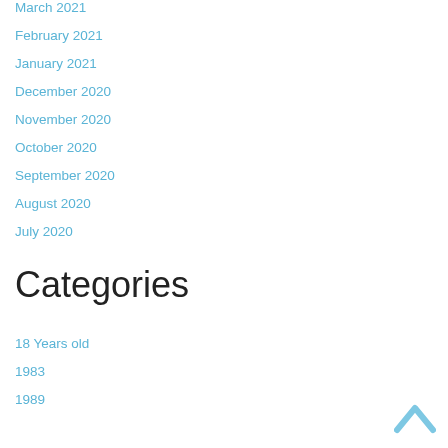March 2021
February 2021
January 2021
December 2020
November 2020
October 2020
September 2020
August 2020
July 2020
Categories
18 Years old
1983
1989